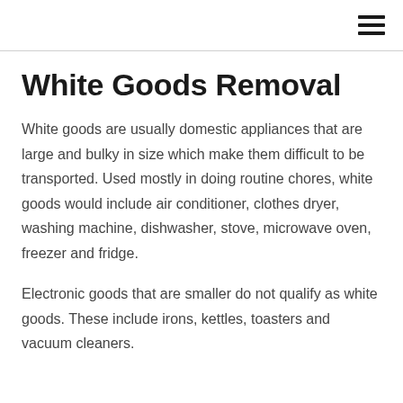☰
White Goods Removal
White goods are usually domestic appliances that are large and bulky in size which make them difficult to be transported. Used mostly in doing routine chores, white goods would include air conditioner, clothes dryer, washing machine, dishwasher, stove, microwave oven, freezer and fridge.
Electronic goods that are smaller do not qualify as white goods. These include irons, kettles, toasters and vacuum cleaners.